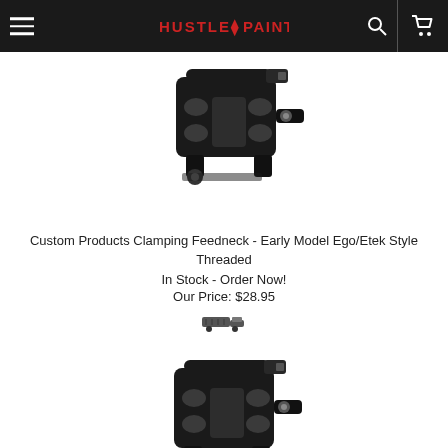Hustle Paintball - navigation bar with hamburger menu, logo, search and cart icons
[Figure (photo): Black paintball clamping feedneck product photo, top view, on white background]
Custom Products Clamping Feedneck - Early Model Ego/Etek Style Threaded
In Stock - Order Now!
Our Price: $28.95
[Figure (other): Small add-to-cart truck/shipping icon button]
[Figure (photo): Black paintball clamping feedneck product photo, bottom view, on white background]